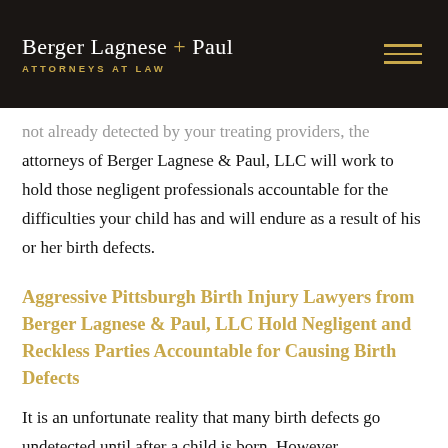Berger Lagnese + Paul ATTORNEYS AT LAW
not already detected by your treating providers, the attorneys of Berger Lagnese & Paul, LLC will work to hold those negligent professionals accountable for the difficulties your child has and will endure as a result of his or her birth defects.
Aggressive Pittsburgh Birth Injury Lawyers from Berger Lagnese & Paul, LLC Hold Negligent and Reckless Parties Accountable for Causing Birth Defects
It is an unfortunate reality that many birth defects go undetected until after a child is born. However,